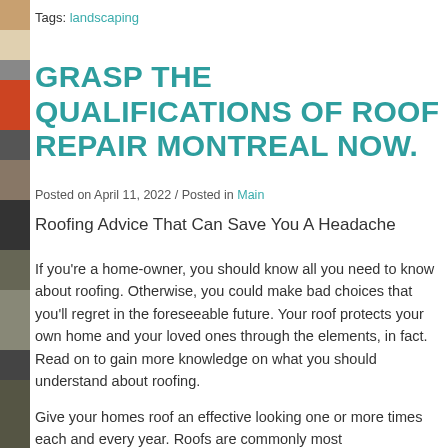Tags: landscaping
GRASP THE QUALIFICATIONS OF ROOF REPAIR MONTREAL NOW.
Posted on April 11, 2022 / Posted in Main
Roofing Advice That Can Save You A Headache
If you're a home-owner, you should know all you need to know about roofing. Otherwise, you could make bad choices that you'll regret in the foreseeable future. Your roof protects your own home and your loved ones through the elements, in fact. Read on to gain more knowledge on what you should understand about roofing.
Give your homes roof an effective looking one or more times each and every year. Roofs are commonly most